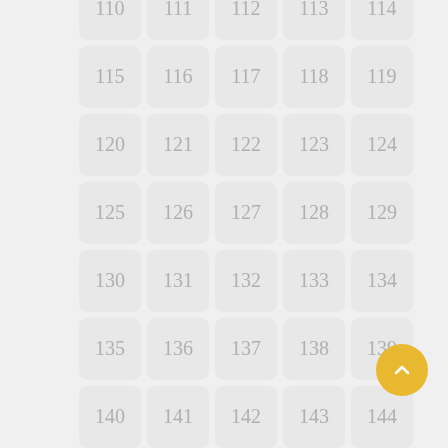[Figure (other): Grid of numbered rounded rectangle cells from 110 to 164, displayed in a 5-column layout with light gray background cells. A gold circular back-to-top button is in the bottom-right corner.]